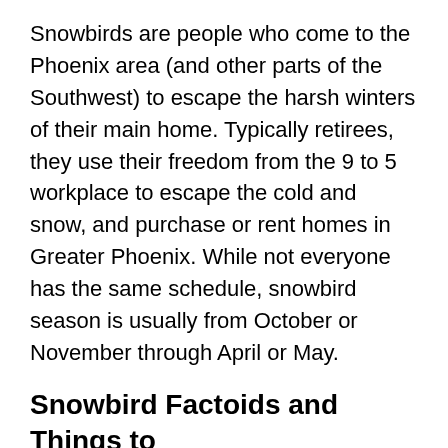Snowbirds are people who come to the Phoenix area (and other parts of the Southwest) to escape the harsh winters of their main home. Typically retirees, they use their freedom from the 9 to 5 workplace to escape the cold and snow, and purchase or rent homes in Greater Phoenix. While not everyone has the same schedule, snowbird season is usually from October or November through April or May.
Snowbird Factoids and Things to Consider
When the snowbirds are in town, restaurants seem more crowded, especially during the earlier hours.
In neighborhoods where there tend to be a lot of snowbirds, and into that time of year...